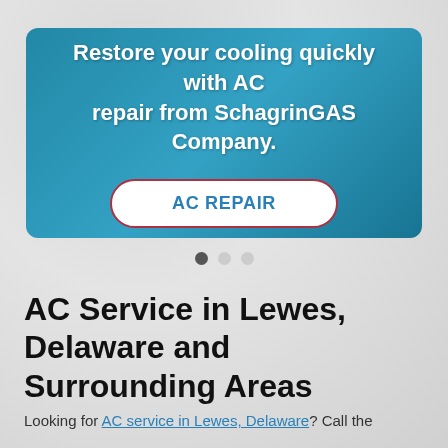[Figure (infographic): Blue banner with text 'Restore your cooling quickly with AC repair from SchagrinGAS Company.' and a white pill-shaped button labeled 'AC REPAIR' with red border]
Slider navigation dots (3 dots, first active)
AC Service in Lewes, Delaware and Surrounding Areas
Looking for AC service in Lewes, Delaware? Call the